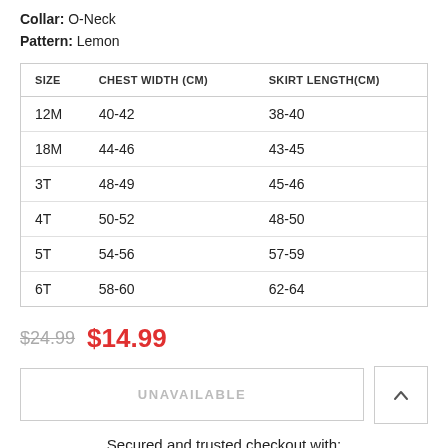Collar: O-Neck
Pattern: Lemon
| SIZE | CHEST WIDTH (CM) | SKIRT LENGTH(CM) |
| --- | --- | --- |
| 12M | 40-42 | 38-40 |
| 18M | 44-46 | 43-45 |
| 3T | 48-49 | 45-46 |
| 4T | 50-52 | 48-50 |
| 5T | 54-56 | 57-59 |
| 6T | 58-60 | 62-64 |
$24.99  $14.99
UNAVAILABLE
Secured and trusted checkout with:
[Figure (logo): Payment icons: Mastercard, American Express, PayPal]